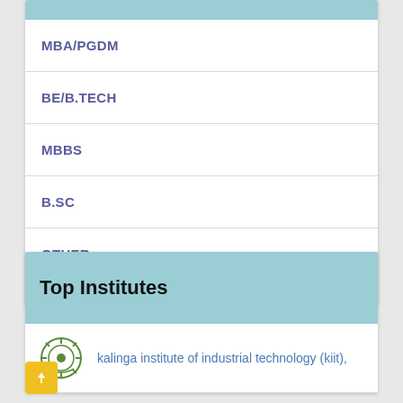MBA/PGDM
BE/B.TECH
MBBS
B.SC
OTHER
Top Institutes
kalinga institute of industrial technology (kiit),